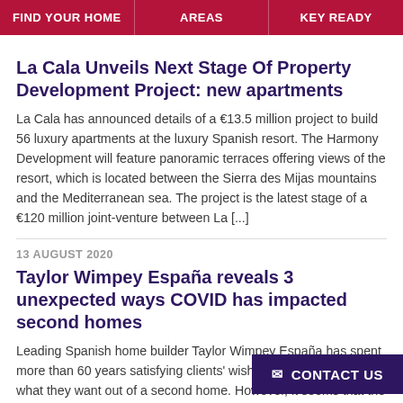FIND YOUR HOME | AREAS | KEY READY
La Cala Unveils Next Stage Of Property Development Project: new apartments
La Cala has announced details of a €13.5 million project to build 56 luxury apartments at the luxury Spanish resort. The Harmony Development will feature panoramic terraces offering views of the resort, which is located between the Sierra des Mijas mountains and the Mediterranean sea. The project is the latest stage of a €120 million joint-venture between La [...]
13 AUGUST 2020
Taylor Wimpey España reveals 3 unexpected ways COVID has impacted second homes
Leading Spanish home builder Taylor Wimpey España has spent more than 60 years satisfying clients' wishes when it comes to what they want out of a second home. However, it seems that the COVID-19 pandemic has given rise to some unusual requirements. "It's a given that COVID-19 has caused h spacious properties and decent [...]
✉ CONTACT US